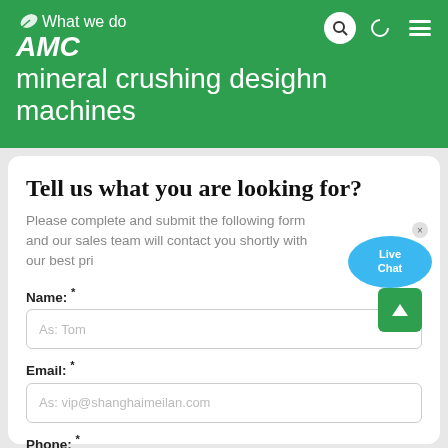What we do AMC mineral crushing desighn machines
Tell us what you are looking for?
Please complete and submit the following form and our sales team will contact you shortly with our best pri
Name: *
As: Tom
Email: *
As: vip@shanghaimeilan.com
Phone: *
With Country Code
The Location of the Project:
[Figure (other): Live Chat speech bubble icon with blue background and white text reading 'Live Chat']